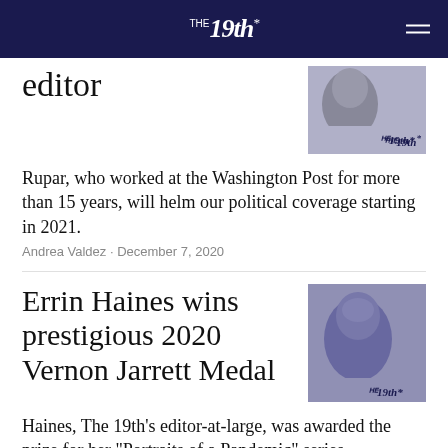THE 19th*
editor
Rupar, who worked at the Washington Post for more than 15 years, will helm our political coverage starting in 2021.
Andrea Valdez · December 7, 2020
Errin Haines wins prestigious 2020 Vernon Jarrett Medal
Haines, The 19th's editor-at-large, was awarded the prize for her "Portraits of a Pandemic" series.
Emily Ramshaw · November 9, 2020